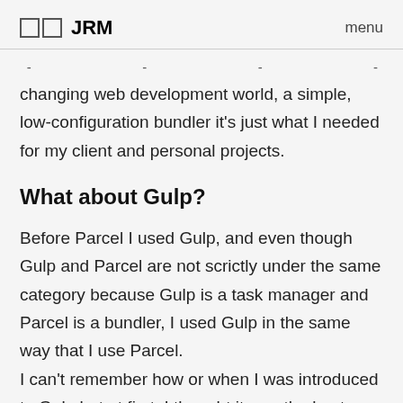□□ JRM   menu
changing web development world, a simple, low-configuration bundler it's just what I needed for my client and personal projects.
What about Gulp?
Before Parcel I used Gulp, and even though Gulp and Parcel are not scrictly under the same category because Gulp is a task manager and Parcel is a bundler, I used Gulp in the same way that I use Parcel.
I can't remember how or when I was introduced to Gulp but at first, I thought it was the best thing, you could use browser-sync, scss, and even optimize your images for production. You only had to create a config file in the